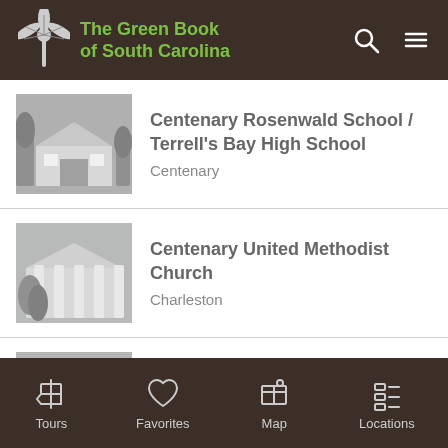The Green Book of South Carolina
Centenary Rosenwald School / Terrell's Bay High School — Centenary
Centenary United Methodist Church — Charleston
Central Baptist Church — Charleston
Tours | Favorites | Map | Locations